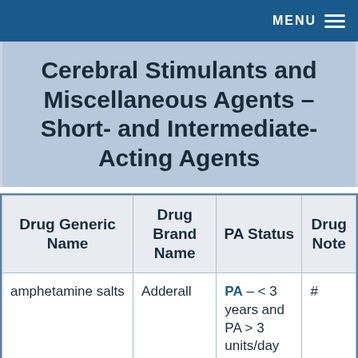MENU
Cerebral Stimulants and Miscellaneous Agents – Short- and Intermediate-Acting Agents
| Drug Generic Name | Drug Brand Name | PA Status | Drug Note |
| --- | --- | --- | --- |
| amphetamine salts | Adderall | PA - < 3 years and PA > 3 units/day | # |